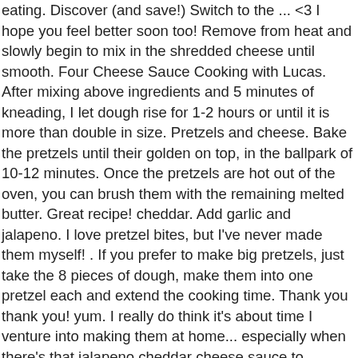eating. Discover (and save!) Switch to the ... <3 I hope you feel better soon too! Remove from heat and slowly begin to mix in the shredded cheese until smooth. Four Cheese Sauce Cooking with Lucas. After mixing above ingredients and 5 minutes of kneading, I let dough rise for 1-2 hours or until it is more than double in size. Pretzels and cheese. Bake the pretzels until their golden on top, in the ballpark of 10-12 minutes. Once the pretzels are hot out of the oven, you can brush them with the remaining melted butter. Great recipe! cheddar. Add garlic and jalapeno. I love pretzel bites, but I've never made them myself! . If you prefer to make big pretzels, just take the 8 pieces of dough, make them into one pretzel each and extend the cooking time. Thank you thank you! yum. I really do think it's about time I venture into making them at home... especially when there's that jalapeno cheddar cheese sauce to motivate me. So on my list of things to make, these turned out so pretty Jessica! Hope you had like 10 servings of this though – they look heavenly, especially with that cheese sauce – YUM! In medium microwavable bowl, microwave 2 cups water uncovered on High about 2 minutes